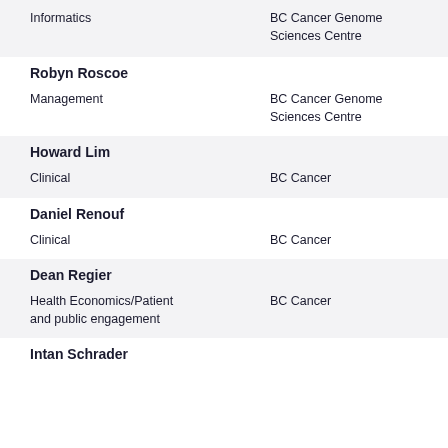| Name/Role | Organization |
| --- | --- |
| Informatics | BC Cancer Genome Sciences Centre |
| Robyn Roscoe |  |
| Management | BC Cancer Genome Sciences Centre |
| Howard Lim |  |
| Clinical | BC Cancer |
| Daniel Renouf |  |
| Clinical | BC Cancer |
| Dean Regier |  |
| Health Economics/Patient and public engagement | BC Cancer |
| Intan Schrader |  |